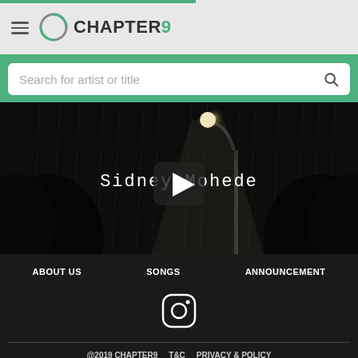CHAPTER9
Search for artist or title
[Figure (screenshot): Black and white video thumbnail showing a night scene with a street lamp glowing brightly, trees in background, with text 'Sidney Mohede' overlaid and a play button icon in center]
ABOUT US   SONGS   ANNOUNCEMENT
[Figure (logo): Instagram icon in white outline style]
@2019 CHAPTER9   T&C   PRIVACY & POLICY